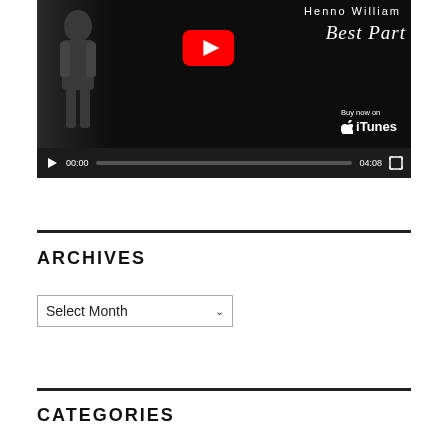[Figure (screenshot): YouTube video player showing 'Henno William - Best Part' with Buy now on iTunes overlay, video controls showing 00:00 / 04:08, play button, progress bar and fullscreen button on dark background]
ARCHIVES
Select Month
CATEGORIES